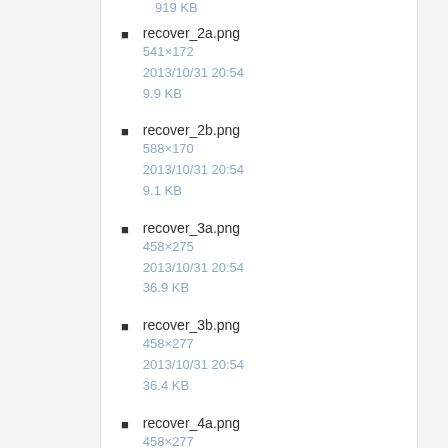919 KB
recover_2a.png
541×172
2013/10/31 20:54
9.9 KB
recover_2b.png
588×170
2013/10/31 20:54
9.1 KB
recover_3a.png
458×275
2013/10/31 20:54
36.9 KB
recover_3b.png
458×277
2013/10/31 20:54
36.4 KB
recover_4a.png
458×277
2013/10/31 20:54